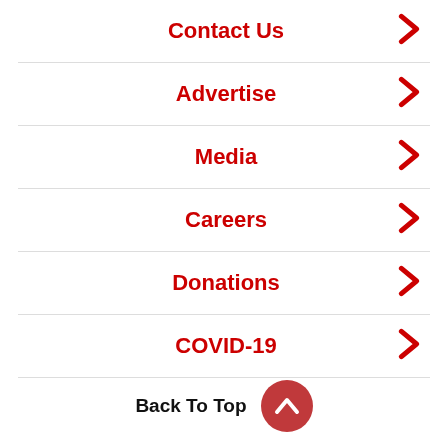Contact Us
Advertise
Media
Careers
Donations
COVID-19
Back To Top